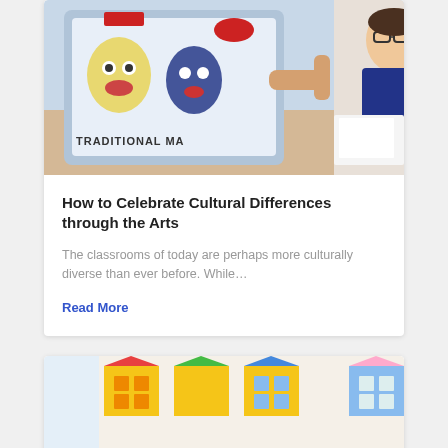[Figure (photo): Child pointing at a tablet screen showing traditional masks, with a girl with glasses sitting at a desk with papers and crayons in the background]
How to Celebrate Cultural Differences through the Arts
The classrooms of today are perhaps more culturally diverse than ever before. While…
Read More
[Figure (photo): Children wearing masks sitting in a colorful classroom with paper house decorations on the wall, a camera on a tripod in the foreground, and one child raising their hand]